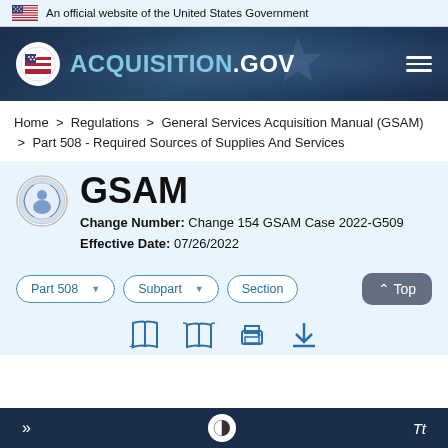An official website of the United States Government
[Figure (logo): Acquisition.gov logo with circular emblem on dark blue header background]
Home > Regulations > General Services Acquisition Manual (GSAM) > Part 508 - Required Sources of Supplies And Services
GSAM
Change Number: Change 154 GSAM Case 2022-G509
Effective Date: 07/26/2022
Part 508  Subpart  Section
» [contrast] Tt